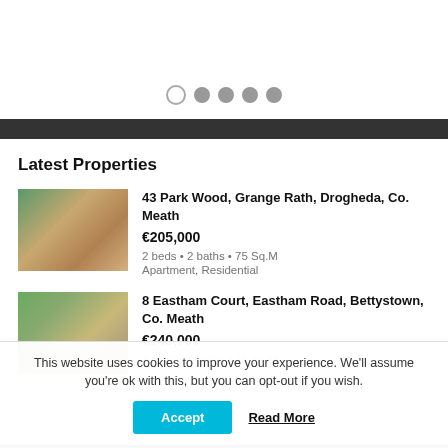[Figure (other): Carousel dot indicators: one empty circle followed by four filled grey circles]
Latest Properties
[Figure (photo): Interior photo of a living room with green walls, fireplace, TV, and brown leather sofa]
43 Park Wood, Grange Rath, Drogheda, Co. Meath
€205,000
2 beds • 2 baths • 75 Sq.M
Apartment, Residential
[Figure (photo): Exterior photo of a two-storey terraced house with blue door and garden]
8 Eastham Court, Eastham Road, Bettystown, Co. Meath
€240,000
3 beds • 3 baths • 75 Sq.M
This website uses cookies to improve your experience. We'll assume you're ok with this, but you can opt-out if you wish.